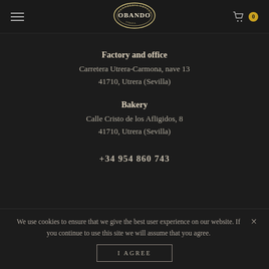Obando Panadería Artesana — Navigation header with hamburger menu, logo, and cart (0)
Factory and office
Carretera Utrera-Carmona, nave 13
41710, Utrera (Sevilla)
Bakery
Calle Cristo de los Afligidos, 8
41710, Utrera (Sevilla)
+34 954 860 743
We use cookies to ensure that we give the best user experience on our website. If you continue to use this site we will assume that you agree.
I AGREE